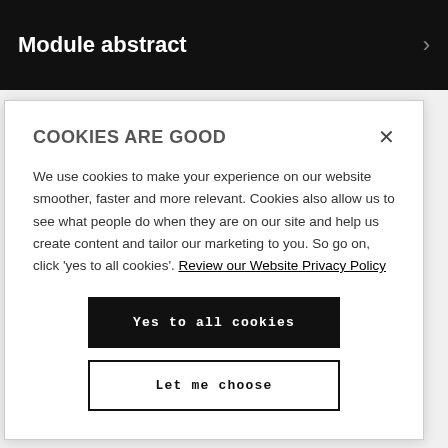Module abstract
COOKIES ARE GOOD
We use cookies to make your experience on our website smoother, faster and more relevant. Cookies also allow us to see what people do when they are on our site and help us create content and tailor our marketing to you. So go on, click 'yes to all cookies'. Review our Website Privacy Policy
Yes to all cookies
Let me choose
years full-time or 4 years with a placement (sandwich) Yet to be based on